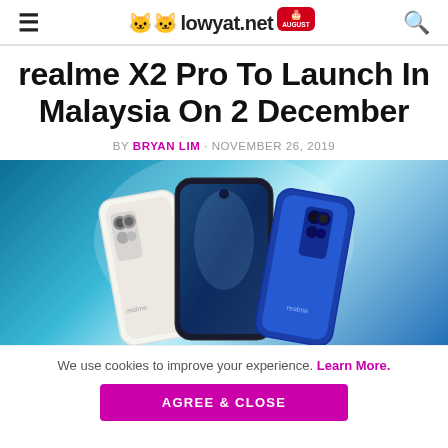lowyat.net
realme X2 Pro To Launch In Malaysia On 2 December
BY BRYAN LIM · NOVEMBER 26, 2019
[Figure (photo): Three realme X2 Pro smartphones displayed — white back view on left, front view in center, blue back view on right — against a teal/blue gradient background]
We use cookies to improve your experience. Learn More.
AGREE & CLOSE